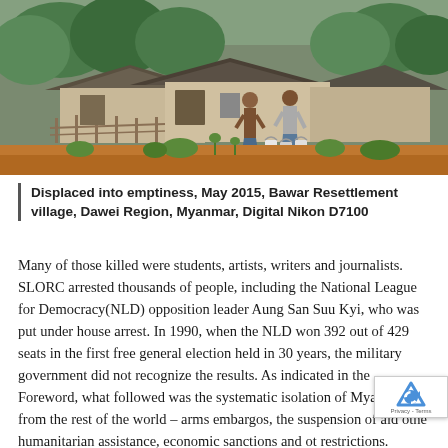[Figure (photo): Photograph of two people standing in front of traditional huts/houses in a rural village setting. Red/orange dirt ground visible, lush green trees in background. People are holding buckets. Scene appears to be in Myanmar.]
Displaced into emptiness, May 2015, Bawar Resettlement village, Dawei Region, Myanmar, Digital Nikon D7100
Many of those killed were students, artists, writers and journalists. SLORC arrested thousands of people, including the National League for Democracy(NLD) opposition leader Aung San Suu Kyi, who was put under house arrest. In 1990, when the NLD won 392 out of 429 seats in the first free general election held in 30 years, the military government did not recognize the results. As indicated in the Foreword, what followed was the systematic isolation of Myanmar from the rest of the world – arms embargos, the suspension of aid other humanitarian assistance, economic sanctions and other restrictions. However, many of the indigenous in the delta...